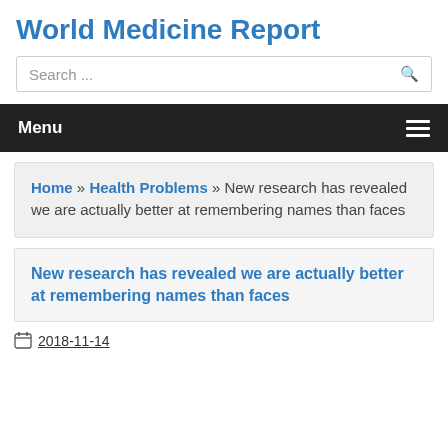World Medicine Report
Search ...
Menu
Home » Health Problems » New research has revealed we are actually better at remembering names than faces
New research has revealed we are actually better at remembering names than faces
2018-11-14